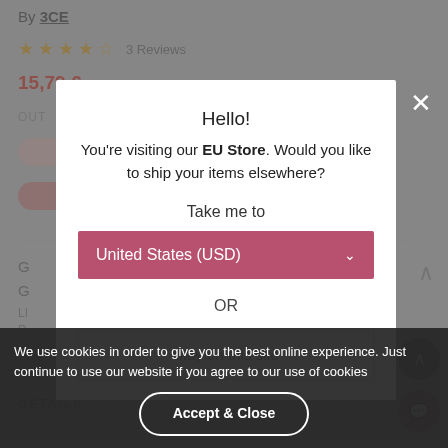By 3CE
★★★★½  3 Reviews
15,79 €
OUT
[Figure (screenshot): Background product page showing color swatches, navigation arrows, and section labels]
Hello!
You're visiting our EU Store. Would you like to ship your items elsewhere?
Take me to
United States (USD)
OR
Stay on this site
We use cookies in order to give you the best online experience. Just continue to use our website if you agree to our use of cookies
Accept & Close